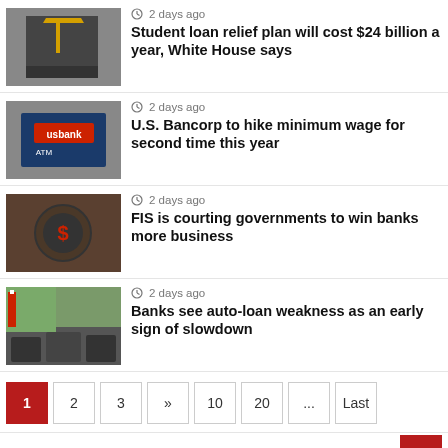2 days ago — Student loan relief plan will cost $24 billion a year, White House says
2 days ago — U.S. Bancorp to hike minimum wage for second time this year
2 days ago — FIS is courting governments to win banks more business
2 days ago — Banks see auto-loan weakness as an early sign of slowdown
1 2 3 » 10 20 ... Last
honestcolumnist  42 mins ago
Bank of Russia Eases Restrictions on